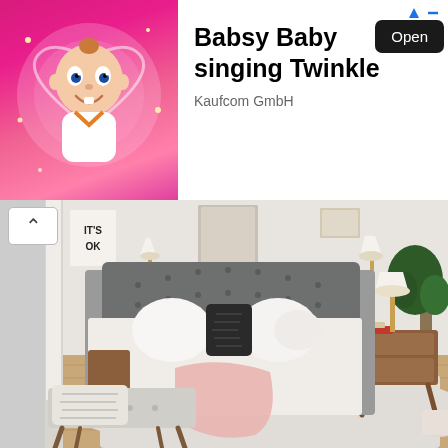[Figure (photo): Ad banner with animated baby cartoon character on pink sparkle background. Text reads 'Babsy Baby singing Twinkle' by Kaufcom GmbH with an 'Open' button.]
[Figure (photo): Bedroom interior photo showing a tufted gray upholstered bed with white bedding and decorative pillows, a pink throw blanket, gray tufted bench at foot of bed, wooden mid-century modern nightstand with lamp, potted plant, framed art on wall, and text sign saying 'IT'S OK'.]